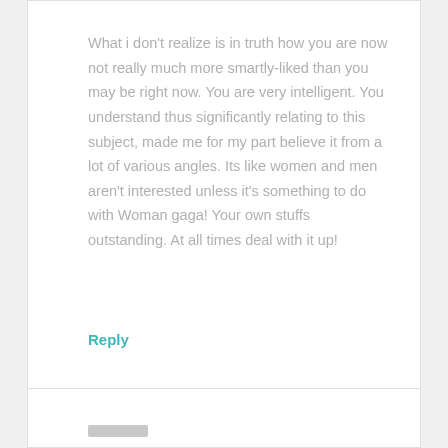What i don't realize is in truth how you are now not really much more smartly-liked than you may be right now. You are very intelligent. You understand thus significantly relating to this subject, made me for my part believe it from a lot of various angles. Its like women and men aren't interested unless it's something to do with Woman gaga! Your own stuffs outstanding. At all times deal with it up!
Reply